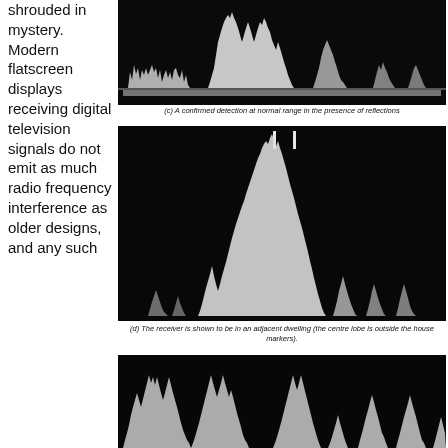shrouded in mystery. Modern flatscreen displays receiving digital television signals do not emit as much radio frequency interference as older designs, and any such
[Figure (continuous-plot): Spectrum analyzer display on black background showing a wide frequency spectrum with multiple peaks and dense noise floor — a confirmed detection at normal range in the presence of reflections]
(c)  A confirmed detection at normal range in the presence of reflections
[Figure (continuous-plot): Spectrum analyzer display on black background showing prominent tall narrow peaks in the centre with lower flanking peaks — the receiver is shown to be in an adjacent dwelling (the centre lobe is outside the house markers)]
(d)  The receiver is shown to be in an adjacent dwelling (the centre lobe is outside the house markers).
[Figure (continuous-plot): Spectrum analyzer display on black background showing irregular jagged peaks across the frequency range — partial view, cut off at bottom of page]